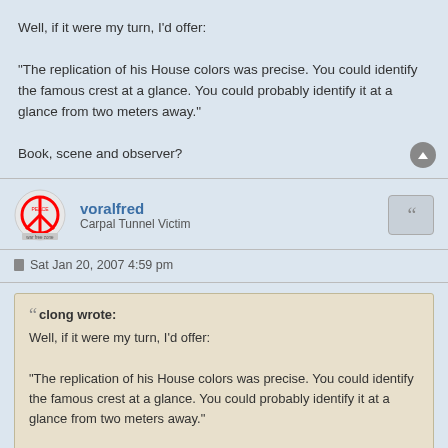Well, if it were my turn, I'd offer:

"The replication of his House colors was precise. You could identify the famous crest at a glance. You could probably identify it at a glance from two meters away."

Book, scene and observer?
voralfred
Carpal Tunnel Victim
Sat Jan 20, 2007 4:59 pm
clong wrote:
Well, if it were my turn, I'd offer:

"The replication of his House colors was precise. You could identify the famous crest at a glance. You could probably identify it at a glance from two meters away."

Book, scene and observer?